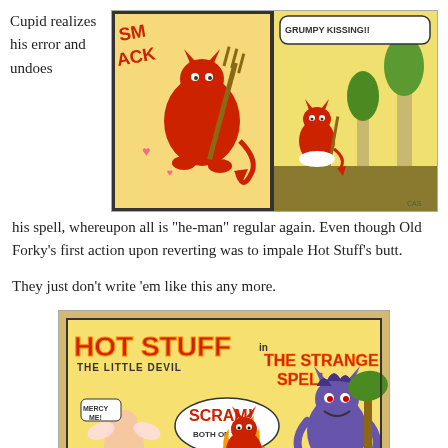Cupid realizes his error and undoes his spell, whereupon all is "he-man" regular again. Even though Old Forky's first action upon reverting was to impale Hot Stuff's butt.
[Figure (illustration): Two comic book panels showing a red devil character (Hot Stuff) with a pitchfork; the second panel shows a smaller red devil character in an outdoor scene with a speech bubble reading 'GRUMPY KISSING!!']
They just don't write 'em like this any more.
[Figure (illustration): Comic book cover: 'HOT STUFF THE LITTLE DEVIL in THE STRANGE SPELL'. Features Hot Stuff (red devil) in flames, a cherub/cupid character saying 'MERCY ME!' and a speech bubble saying 'SCRAM! BOTH OF YOU!' with a larger demon character on the right.]